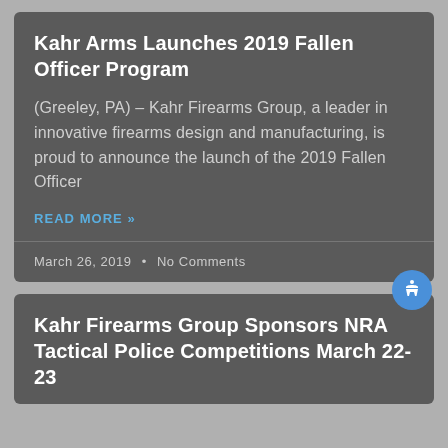Kahr Arms Launches 2019 Fallen Officer Program
(Greeley, PA) – Kahr Firearms Group, a leader in innovative firearms design and manufacturing, is proud to announce the launch of the 2019 Fallen Officer
READ MORE »
March 26, 2019 • No Comments
Kahr Firearms Group Sponsors NRA Tactical Police Competitions March 22-23